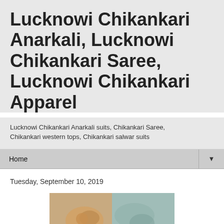Lucknowi Chikankari Anarkali, Lucknowi Chikankari Saree, Lucknowi Chikankari Apparel
Lucknowi Chikankari Anarkali suits, Chikankari Saree, Chikankari western tops, Chikankari salwar suits
Home
Tuesday, September 10, 2019
[Figure (photo): Decorative image with orange/warm tones on left half and teal/blue tones on right half, possibly showing Chikankari fabric or apparel]